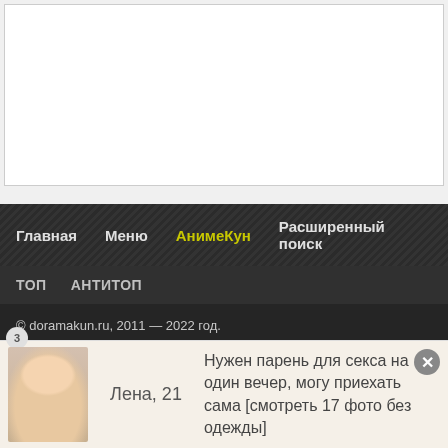[Figure (other): White content area / advertisement placeholder]
Главная   Меню   АнимеКун   Расширенный поиск
ТОП   АНТИТОП
© doramakun.ru, 2011 — 2022 год.
Страница сгенерирована за 0.0818, SQL 5, 4.75 mb
[Figure (photo): Advertisement banner with photo of young woman, name Лена 21, and text about meeting]